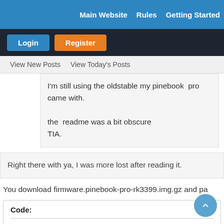Main Website   Rules   Getting Started
Login   Register
View New Posts   View Today's Posts
I'm still using the oldstable my pinebook  pro came with.

the  readme was a bit obscure
TIA.
Right there with ya, I was more lost after reading it.
You download firmware.pinebook-pro-rk3399.img.gz and pa
Code:
zcat firmware.pinebook-pro-rk3399.img.gz partition